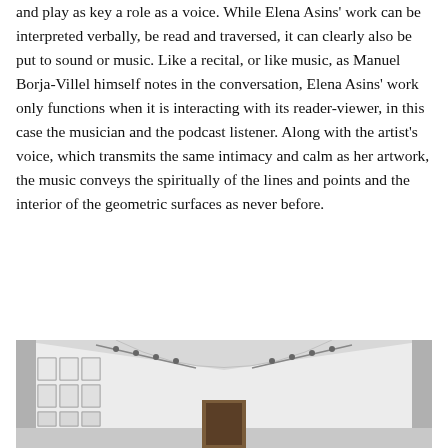and play as key a role as a voice. While Elena Asins' work can be interpreted verbally, be read and traversed, it can clearly also be put to sound or music. Like a recital, or like music, as Manuel Borja-Villel himself notes in the conversation, Elena Asins' work only functions when it is interacting with its reader-viewer, in this case the musician and the podcast listener. Along with the artist's voice, which transmits the same intimacy and calm as her artwork, the music conveys the spiritually of the lines and points and the interior of the geometric surfaces as never before.
[Figure (photo): Interior view of a white gallery space with vaulted ceiling, track lighting, and framed artworks hung on both side walls. A doorway is visible in the center background.]